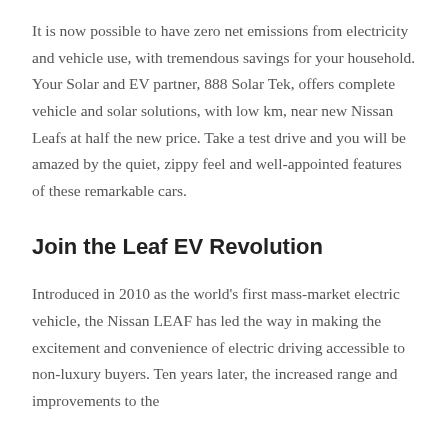It is now possible to have zero net emissions from electricity and vehicle use, with tremendous savings for your household. Your Solar and EV partner, 888 Solar Tek, offers complete vehicle and solar solutions, with low km, near new Nissan Leafs at half the new price. Take a test drive and you will be amazed by the quiet, zippy feel and well-appointed features of these remarkable cars.
Join the Leaf EV Revolution
Introduced in 2010 as the world's first mass-market electric vehicle, the Nissan LEAF has led the way in making the excitement and convenience of electric driving accessible to non-luxury buyers. Ten years later, the increased range and improvements to the